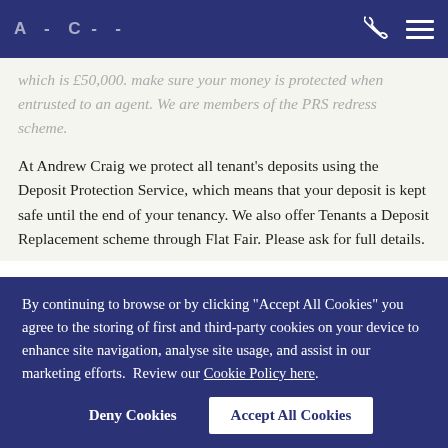Andrew Craig [header with phone and menu icons]
which is £50,000. Make sure your money is protected when entrusted to an agent. We are members of the PRS redress scheme.
At Andrew Craig we protect all tenant's deposits using the Deposit Protection Service, which means that your deposit is kept safe until the end of your tenancy. We also offer Tenants a Deposit Replacement scheme through Flat Fair. Please ask for full details.
By continuing to browse or by clicking "Accept All Cookies" you agree to the storing of first and third-party cookies on your device to enhance site navigation, analyse site usage, and assist in our marketing efforts.  Review our Cookie Policy here.